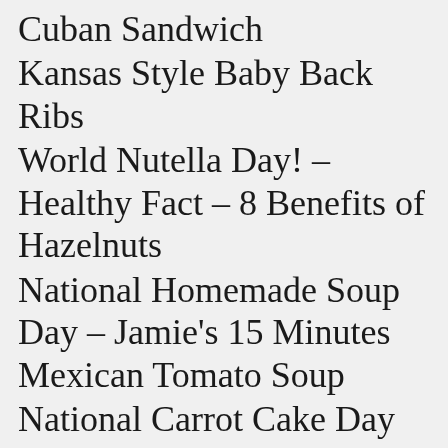Cuban Sandwich
Kansas Style Baby Back Ribs
World Nutella Day! – Healthy Fact – 8 Benefits of Hazelnuts
National Homemade Soup Day – Jamie's 15 Minutes Mexican Tomato Soup
National Carrot Cake Day